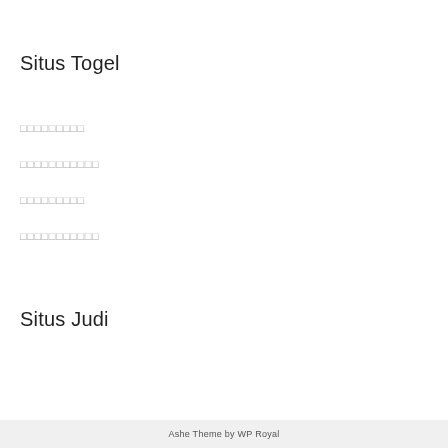Situs Togel
□□□□□□□□□
□□□□□□□□□□□
□□□□□□□□□
□□□□□□□□□□□
Situs Judi
Ashe Theme by WP Royal